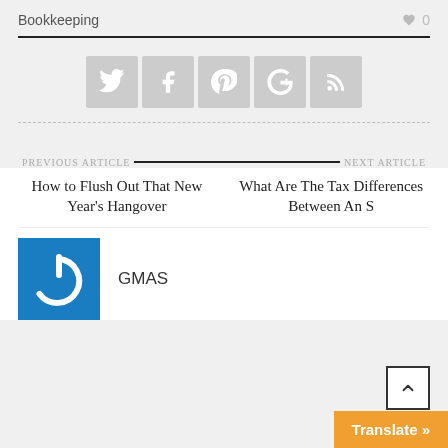Bookkeeping   ♥ 0
[Figure (infographic): Row of five social media share buttons (Twitter, Facebook, Pinterest, Google+, RSS) in grey square buttons with white icons]
PREVIOUS ARTICLE
How to Flush Out That New Year's Hangover
NEXT ARTICLE
What Are The Tax Differences Between An S
[Figure (logo): Blue square with white power/GMAS logo icon]
GMAS
Translate »